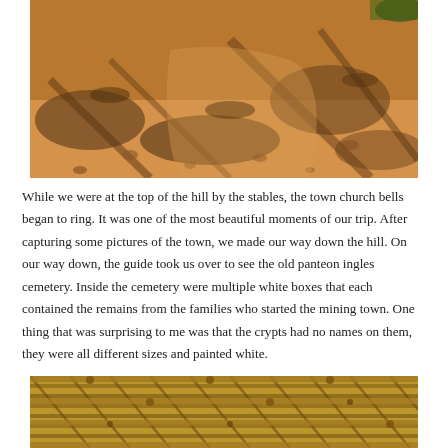[Figure (photo): Aerial/ground-level view of a dry, sandy dirt path or road with scattered rocks and shadows from trees cast across the dusty ochre-brown ground.]
While we were at the top of the hill by the stables, the town church bells began to ring. It was one of the most beautiful moments of our trip. After capturing some pictures of the town, we made our way down the hill. On our way down, the guide took us over to see the old panteon ingles cemetery. Inside the cemetery were multiple white boxes that each contained the remains from the families who started the mining town. One thing that was surprising to me was that the crypts had no names on them, they were all different sizes and painted white.
[Figure (photo): Close-up of a woven palm frond or thatched roof structure, showing interlaced dried straw/bamboo material in warm golden-brown tones.]